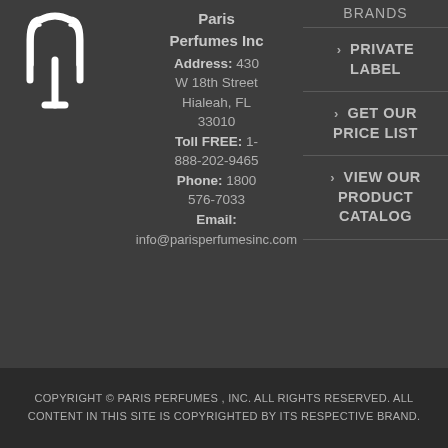[Figure (logo): Paris Perfumes Inc logo - stylized fork/tuning fork icon in white on dark background]
Paris
Perfumes Inc
Address: 430 W 18th Street Hialeah, FL 33010
Toll FREE: 1-888-202-9465
Phone: 1800 576-7033
Email:
info@parisperfumesinc.com
BRANDS
> PRIVATE LABEL
> GET OUR PRICE LIST
> VIEW OUR PRODUCT CATALOG
COPYRIGHT © PARIS PERFUMES , INC. ALL RIGHTS RESERVED. ALL CONTENT IN THIS SITE IS COPYRIGHTED BY ITS RESPECTIVE BRAND.